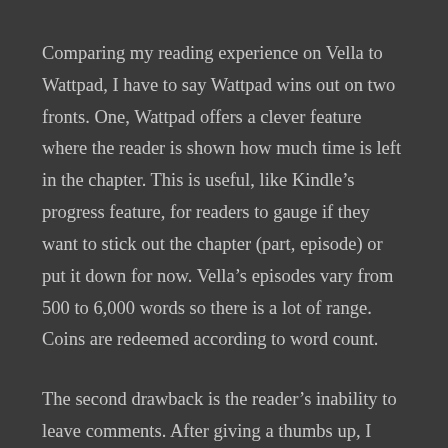Comparing my reading experience on Vella to Wattpad, I have to say Wattpad wins out on two fronts. One, Wattpad offers a clever feature where the reader is shown how much time is left in the chapter. This is useful, like Kindle’s progress feature, for readers to gauge if they want to stick out the chapter (part, episode) or put it down for now. Vella’s episodes vary from 500 to 6,000 words so there is a lot of range. Coins are redeemed according to word count.
The second drawback is the reader’s inability to leave comments. After giving a thumbs up, I found myself returning to the Facebook groups to give a quick take on what I read and to offer words of encouragement, the same type of give and take that is part of the Wattpad